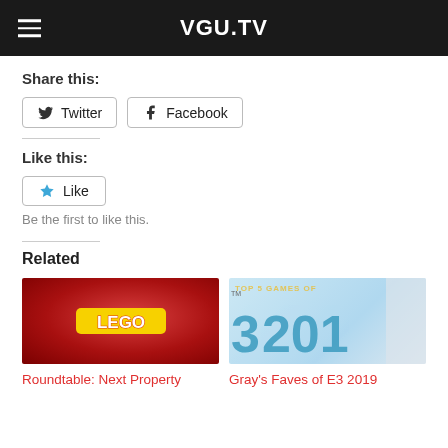VGU.TV
Share this:
Twitter  Facebook
Like this:
Like
Be the first to like this.
Related
[Figure (photo): Lego logo on red background]
[Figure (photo): Top 5 Games of E3 2019 graphic with large teal numbers]
Roundtable: Next Property
Gray's Faves of E3 2019